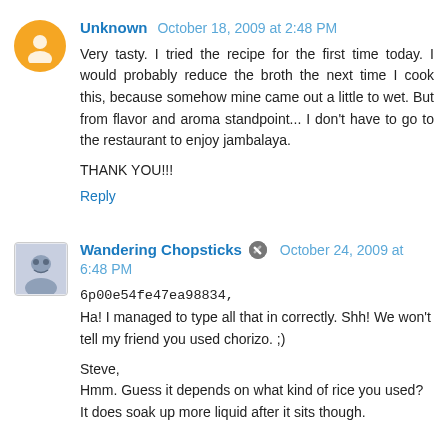Unknown  October 18, 2009 at 2:48 PM
Very tasty. I tried the recipe for the first time today. I would probably reduce the broth the next time I cook this, because somehow mine came out a little to wet. But from flavor and aroma standpoint... I don't have to go to the restaurant to enjoy jambalaya.
THANK YOU!!!
Reply
Wandering Chopsticks  October 24, 2009 at 6:48 PM
6p00e54fe47ea98834,
Ha! I managed to type all that in correctly. Shh! We won't tell my friend you used chorizo. ;)
Steve,
Hmm. Guess it depends on what kind of rice you used? It does soak up more liquid after it sits though.